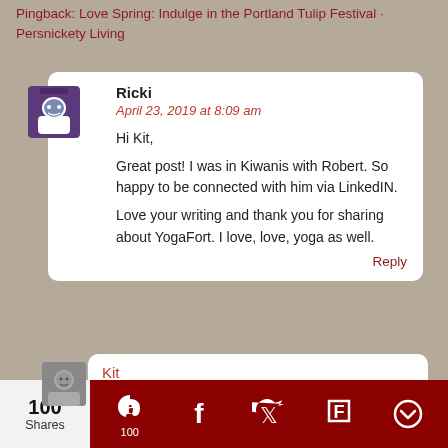Pingback: Love Spring: Indulge in the Portland Tulip Festival · Persnickety Living
Ricki
April 23, 2019 at 8:09 am
Hi Kit,
Great post! I was in Kiwanis with Robert. So happy to be connected with him via LinkedIN.
Love your writing and thank you for sharing about YogaFort. I love, love, yoga as well.
Reply
Kit
April 25, 2019 at 10:41 am
Privacy & Cookies: This site uses cookies. By continuing to use this website, you agree to their use.
To find out more, including how to control cookies, see here: Cookie Policy
100 Shares